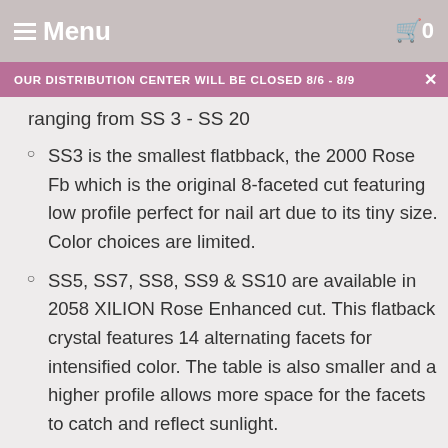Menu | 0
OUR DISTRIBUTION CENTER WILL BE CLOSED 8/6 - 8/9
ranging from SS 3 - SS 20
SS3 is the smallest flatbback, the 2000 Rose Fb which is the original 8-faceted cut featuring low profile perfect for nail art due to its tiny size. Color choices are limited.
SS5, SS7, SS8, SS9 & SS10 are available in 2058 XILION Rose Enhanced cut. This flatback crystal features 14 alternating facets for intensified color. The table is also smaller and a higher profile allows more space for the facets to catch and reflect sunlight.